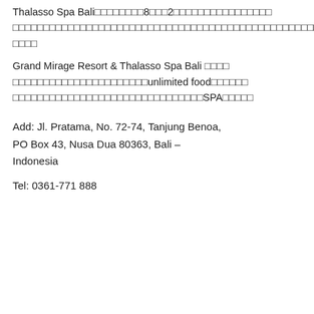Thalasso Spa Bali□□□□□□□□8□□□2□□□□□□□□□□□□□□□□□□□□□□□□□□□□□□□□□□□□□□□□□□□□□□□□□□□□□□□□□□□□□□□□□□□□□□□□□□□□□□□□□□□□□□□□□□□□□□□□□□□□□□□□□□□
Grand Mirage Resort & Thalasso Spa Bali □□□□□□□□□□□□□□□□□□□□□□□□□□□□□□□□□□unlimited food□□□□□□□□□□□□□□□□□□□□□□□□□□□□□□□□□□□□□□□□□□□□□□□SPA□□□□□
Add: Jl. Pratama, No. 72-74, Tanjung Benoa, PO Box 43, Nusa Dua 80363, Bali – Indonesia
Tel: 0361-771 888